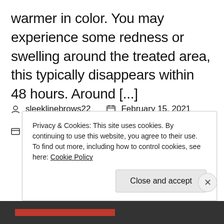warmer in color. You may experience some redness or swelling around the treated area, this typically disappears within 48 hours. Around [...]
sleeklinebrows22   February 15, 2021
Uncategorized   Artists, Clients
Privacy & Cookies: This site uses cookies. By continuing to use this website, you agree to their use.
To find out more, including how to control cookies, see here: Cookie Policy
Close and accept